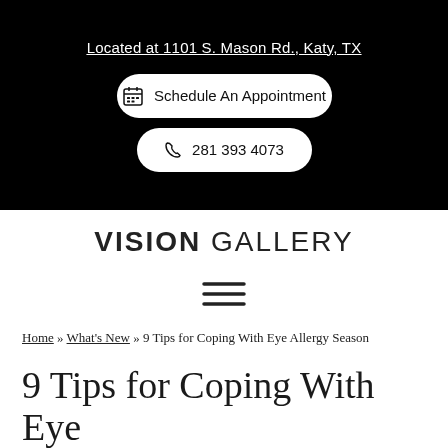Located at 1101 S. Mason Rd., Katy, TX
Schedule An Appointment
281 393 4073
[Figure (logo): VISION GALLERY logo with VISION in bold and GALLERY in lighter weight]
[Figure (other): Hamburger menu icon (three horizontal lines)]
Home » What's New » 9 Tips for Coping With Eye Allergy Season
9 Tips for Coping With Eye